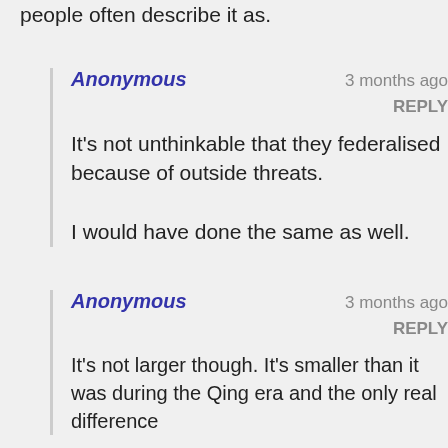people often describe it as.
Anonymous · 3 months ago · REPLY

It's not unthinkable that they federalised because of outside threats.

I would have done the same as well.
Anonymous · 3 months ago · REPLY

It's not larger though. It's smaller than it was during the Qing era and the only real difference